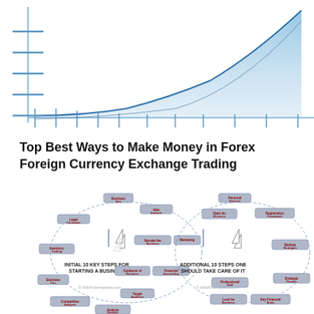[Figure (continuous-plot): Exponential growth line chart with blue shaded area beneath the curve, and vertical tick marks along the x-axis. The curve rises steeply from left to right. Background is white.]
Top Best Ways to Make Money in Forex Foreign Currency Exchange Trading
[Figure (flowchart): Two circular flowcharts side by side. Left: 'INITIAL 10 KEY STEPS FOR STARTING A BUSINESS' with labeled boxes arranged in a circle with upward arrows in center. Right: 'ADDITIONAL 10 STEPS ONE SHOULD TAKE CARE OF IT' with similar circular arrangement. Both have small 3D box labels for each step connected by dashed arrows. Watermark: © WikiFinancepedia.com on both sides.]